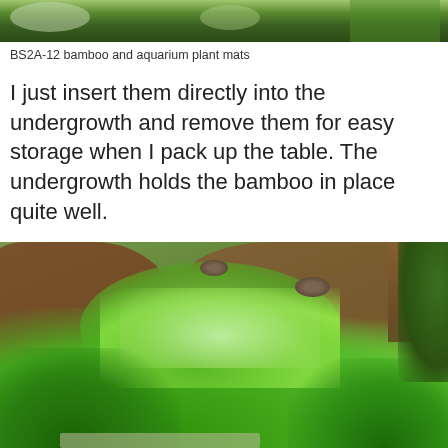[Figure (photo): Partial view of bamboo and aquarium plant mats on a gaming/hobby table, showing green foliage at top of page]
BS2A-12 bamboo and aquarium plant mats
I just insert them directly into the undergrowth and remove them for easy storage when I pack up the table. The undergrowth holds the bamboo in place quite well.
[Figure (photo): Top-down view of a miniature wargaming table showing green grass mats, reddish-brown paths, rocks, and lush green aquarium plant foliage used as undergrowth]